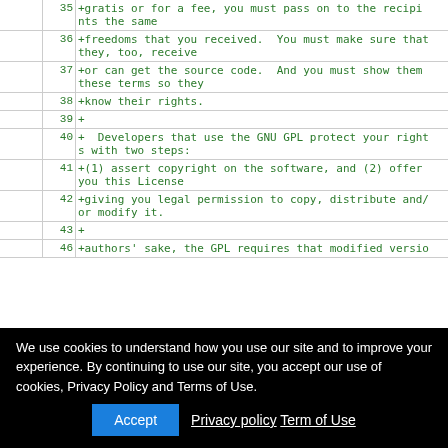|  | line | code |
| --- | --- | --- |
|  | 35 | +gratis or for a fee, you must pass on to the recipients the same |
|  | 36 | +freedoms that you received.  You must make sure that they, too, receive |
|  | 37 | +or can get the source code.  And you must show them these terms so they |
|  | 38 | +know their rights. |
|  | 39 | + |
|  | 40 | +  Developers that use the GNU GPL protect your rights with two steps: |
|  | 41 | +(1) assert copyright on the software, and (2) offer you this License |
|  | 42 | +giving you legal permission to copy, distribute and/or modify it. |
|  | 43 | + |
|  | 46 | +authors' sake, the GPL requires that modified versio |
We use cookies to understand how you use our site and to improve your experience. By continuing to use our site, you accept our use of cookies, Privacy Policy and Terms of Use.
Accept  Privacy policy  Term of Use